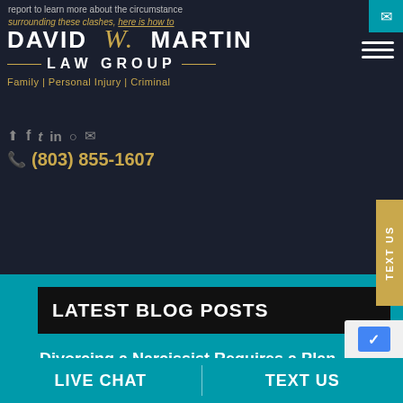report to learn more about the circumstances surrounding these clashes, here is how to...
[Figure (logo): David W. Martin Law Group logo - white bold text with gold script and decorative lines. Tagline: Family | Personal Injury | Criminal]
Family | Personal Injury | Criminal
(803) 855-1607
LATEST BLOG POSTS
Divorcing a Narcissist Requires a Plan, an Advocate, and a Skilled South Carolina Attorney
LIVE CHAT
TEXT US